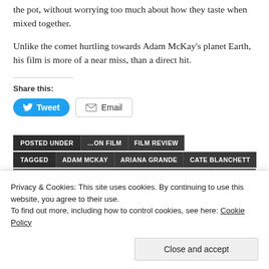the pot, without worrying too much about how they taste when mixed together.
Unlike the comet hurtling towards Adam McKay's planet Earth, his film is more of a near miss, than a direct hit.
Share this:
Tweet  Email
POSTED UNDER  ...ON FILM  FILM REVIEW
TAGGED  ADAM MCKAY  ARIANA GRANDE  CATE BLANCHETT
Privacy & Cookies: This site uses cookies. By continuing to use this website, you agree to their use. To find out more, including how to control cookies, see here: Cookie Policy
Close and accept